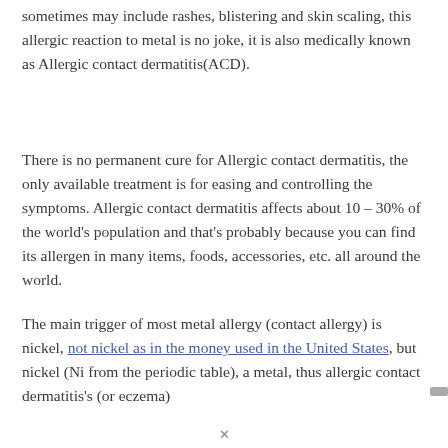sometimes may include rashes, blistering and skin scaling, this allergic reaction to metal is no joke, it is also medically known as Allergic contact dermatitis(ACD).
There is no permanent cure for Allergic contact dermatitis, the only available treatment is for easing and controlling the symptoms. Allergic contact dermatitis affects about 10 – 30% of the world's population and that's probably because you can find its allergen in many items, foods, accessories, etc. all around the world.
The main trigger of most metal allergy (contact allergy) is nickel, not nickel as in the money used in the United States, but nickel (Ni from the periodic table), a metal, thus allergic contact dermatitis's (or eczema)